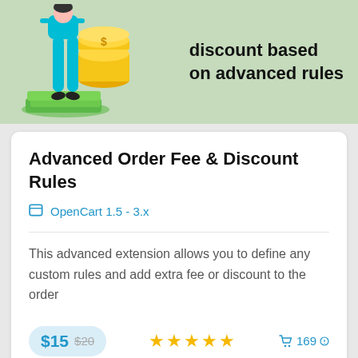[Figure (illustration): Promotional banner with light green background showing a person in teal outfit standing next to a stack of gold coins on green money bills, with bold text: 'Add an extra fee or a discount based on advanced rules']
Advanced Order Fee & Discount Rules
OpenCart 1.5 - 3.x
This advanced extension allows you to define any custom rules and add extra fee or discount to the order
$15 $20 ★★★★★ 169
[Figure (illustration): Light blue banner at bottom with a teal 'MUST HAVE' button]